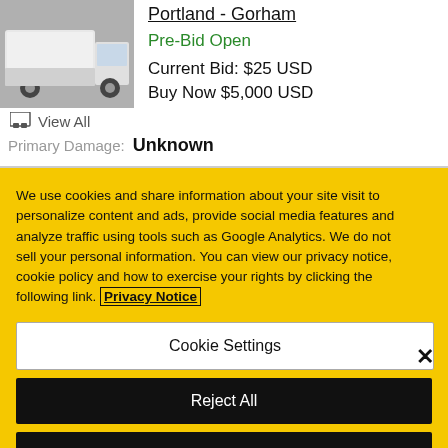[Figure (photo): Photo of a white box truck/delivery vehicle parked on gravel]
View All
Portland - Gorham
Pre-Bid Open
Current Bid: $25 USD
Buy Now $5,000 USD
Primary Damage: Unknown
We use cookies and share information about your site visit to personalize content and ads, provide social media features and analyze traffic using tools such as Google Analytics. We do not sell your personal information. You can view our privacy notice, cookie policy and how to exercise your rights by clicking the following link. Privacy Notice
Cookie Settings
Reject All
Accept Cookies